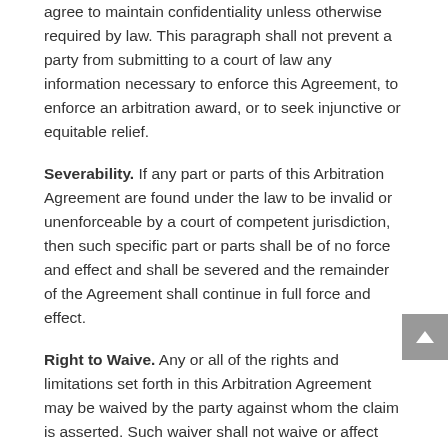agree to maintain confidentiality unless otherwise required by law.  This paragraph shall not prevent a party from submitting to a court of law any information necessary to enforce this Agreement, to enforce an arbitration award, or to seek injunctive or equitable relief.
Severability. If any part or parts of this Arbitration Agreement are found under the law to be invalid or unenforceable by a court of competent jurisdiction, then such specific part or parts shall be of no force and effect and shall be severed and the remainder of the Agreement shall continue in full force and effect.
Right to Waive. Any or all of the rights and limitations set forth in this Arbitration Agreement may be waived by the party against whom the claim is asserted.  Such waiver shall not waive or affect any other portion of this Arbitration Agreement.